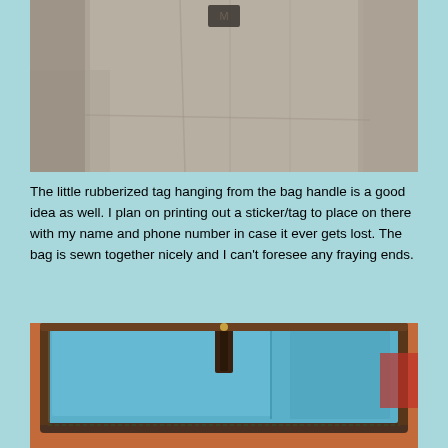[Figure (photo): Close-up photo of a grey fabric bag with a small dark emblem/tag visible at the top]
The little rubberized tag hanging from the bag handle is a good idea as well. I plan on printing out a sticker/tag to place on there with my name and phone number in case it ever gets lost. The bag is sewn together nicely and I can't foresee any fraying ends.
[Figure (photo): Photo of an open bag showing a blue interior lining and brown zipper/stitching detail]